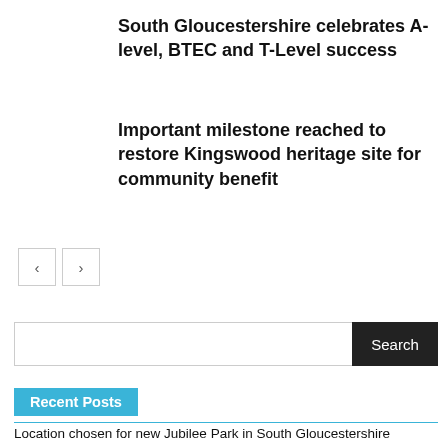South Gloucestershire celebrates A-level, BTEC and T-Level success
Important milestone reached to restore Kingswood heritage site for community benefit
< >
Search
Recent Posts
Location chosen for new Jubilee Park in South Gloucestershire